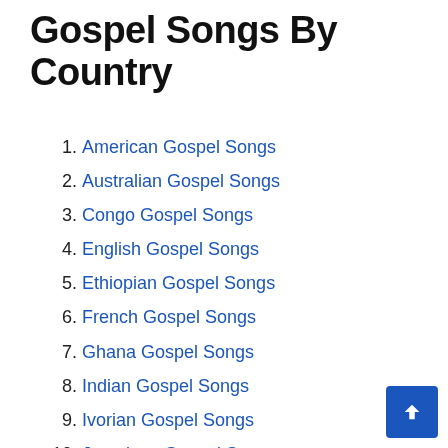Gospel Songs By Country
American Gospel Songs
Australian Gospel Songs
Congo Gospel Songs
English Gospel Songs
Ethiopian Gospel Songs
French Gospel Songs
Ghana Gospel Songs
Indian Gospel Songs
Ivorian Gospel Songs
Jamaican Gospel Songs
Kenyan Gospel Songs
Liberian Gospel Songs
Nigerian Gospel Songs
South African Gospel Songs